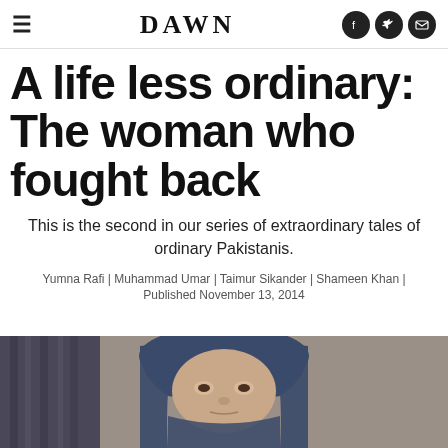DAWN
A life less ordinary: The woman who fought back
This is the second in our series of extraordinary tales of ordinary Pakistanis.
Yumna Rafi | Muhammad Umar | Taimur Sikander | Shameen Khan | Published November 13, 2014
[Figure (photo): Close-up photograph of a Pakistani woman wearing a dark blue headscarf, looking directly at the camera with a serious expression. Colorful fabric visible in the background.]